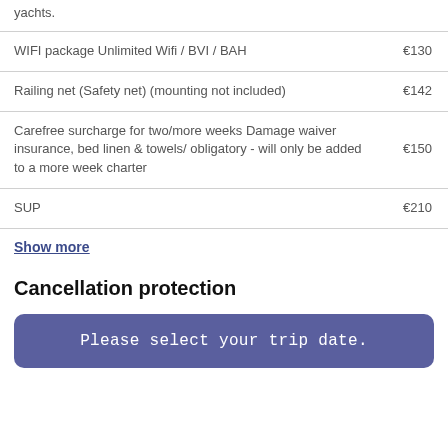| Item | Price |
| --- | --- |
| yachts. |  |
| WIFI package Unlimited Wifi / BVI / BAH | €130 |
| Railing net (Safety net) (mounting not included) | €142 |
| Carefree surcharge for two/more weeks Damage waiver insurance, bed linen & towels/ obligatory - will only be added to a more week charter | €150 |
| SUP | €210 |
Show more
Cancellation protection
Please select your trip date.